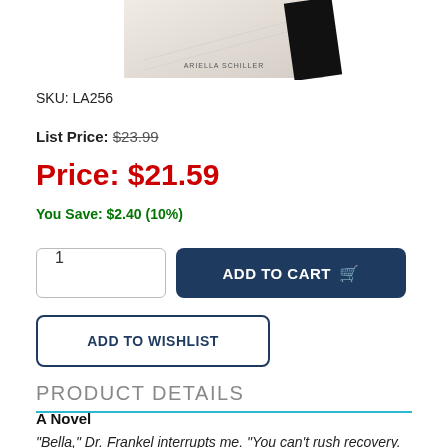[Figure (photo): Partial view of a book cover by Ariella Schiller with a bookmark/tab element visible]
SKU: LA256
List Price: $23.99
Price: $21.59
You Save: $2.40 (10%)
1  ADD TO CART
ADD TO WISHLIST
PRODUCT DETAILS
A Novel
"Bella," Dr. Frankel interrupts me. "You can't rush recovery. Try to take it one step at a time, alright? You seem like a